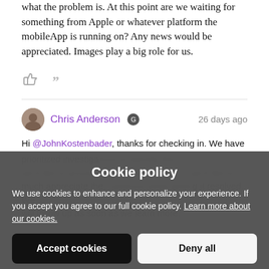what the problem is. At this point are we waiting for something from Apple or whatever platform the mobileApp is running on? Any news would be appreciated. Images play a big role for us.
[Figure (other): Thumbs up icon and quote icon (reaction/engagement icons)]
Chris Anderson · 26 days ago
Hi @JohnKostenbader, thanks for checking in. We have prioritized investigating [blurred] to identify the [blurred] we'd like to provide you with an update. We much appreciate the [blurred] ting it resolved. We will follow up as soon as we learn more.
...
Reach out to me any time. [blurred] token(s) and we'd love feedback about the [blurred] community.
Cookie policy
We use cookies to enhance and personalize your experience. If you accept you agree to our full cookie policy. Learn more about our cookies.
Accept cookies | Deny all
Cookie settings